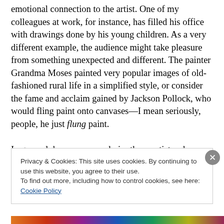emotional connection to the artist. One of my colleagues at work, for instance, has filled his office with drawings done by his young children. As a very different example, the audience might take pleasure from something unexpected and different. The painter Grandma Moses painted very popular images of old-fashioned rural life in a simplified style, or consider the fame and acclaim gained by Jackson Pollock, who would fling paint onto canvases—I mean seriously, people, he just flung paint.
In general, however, we admire those artists who work
Privacy & Cookies: This site uses cookies. By continuing to use this website, you agree to their use.
To find out more, including how to control cookies, see here: Cookie Policy
Close and accept